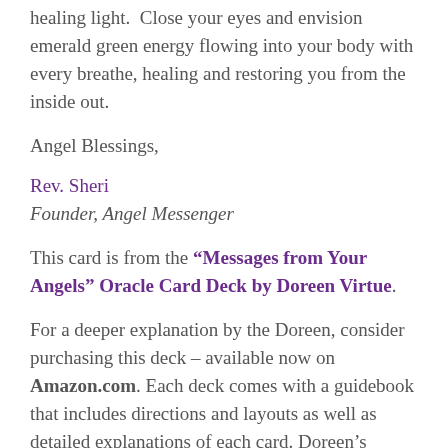healing light.  Close your eyes and envision emerald green energy flowing into your body with every breathe, healing and restoring you from the inside out.
Angel Blessings,
Rev. Sheri
Founder, Angel Messenger
This card is from the “Messages from Your Angels” Oracle Card Deck by Doreen Virtue.
For a deeper explanation by the Doreen, consider purchasing this deck – available now on Amazon.com. Each deck comes with a guidebook that includes directions and layouts as well as detailed explanations of each card. Doreen’s products can be found on Amazon.com and the